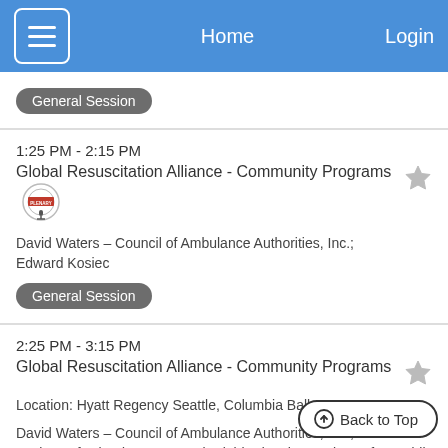Home  Login
General Session
1:25 PM - 2:15 PM
Global Resuscitation Alliance - Community Programs
David Waters – Council of Ambulance Authorities, Inc.; Edward Kosiec
General Session
2:25 PM - 3:15 PM
Global Resuscitation Alliance - Community Programs
Location: Hyatt Regency Seattle, Columbia Ballroom
David Waters – Council of Ambulance Authorities, Inc.; Jenn Roth – Microsoft Cloud Group; Tarek Elabbady, PhD – Microsoft; Fredrik Larsson, MD – Department of Neonatology, Sachs' Children and Youth Hospital,